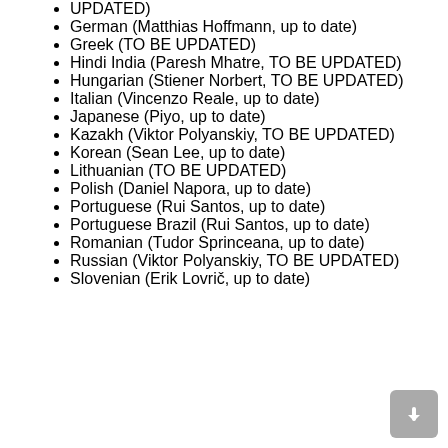UPDATED)
German (Matthias Hoffmann, up to date)
Greek (TO BE UPDATED)
Hindi India (Paresh Mhatre, TO BE UPDATED)
Hungarian (Stiener Norbert, TO BE UPDATED)
Italian (Vincenzo Reale, up to date)
Japanese (Piyo, up to date)
Kazakh (Viktor Polyanskiy, TO BE UPDATED)
Korean (Sean Lee, up to date)
Lithuanian (TO BE UPDATED)
Polish (Daniel Napora, up to date)
Portuguese (Rui Santos, up to date)
Portuguese Brazil (Rui Santos, up to date)
Romanian (Tudor Sprinceana, up to date)
Russian (Viktor Polyanskiy, TO BE UPDATED)
Slovenian (Erik Lovrič, up to date)